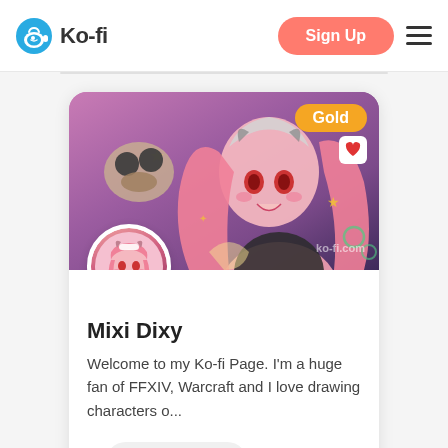[Figure (logo): Ko-fi logo with coffee cup icon and text 'Ko-fi']
Sign Up
[Figure (screenshot): Ko-fi creator profile card for Mixi Dixy showing anime character banner art with Gold badge, circular profile avatar, name 'Mixi Dixy', bio text, and View Page button]
Mixi Dixy
Welcome to my Ko-fi Page. I'm a huge fan of FFXIV, Warcraft and I love drawing characters o...
View Page